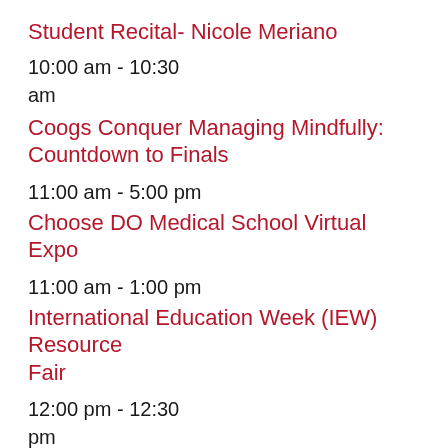Student Recital- Nicole Meriano
10:00 am - 10:30 am
Coogs Conquer Managing Mindfully: Countdown to Finals
11:00 am - 5:00 pm
Choose DO Medical School Virtual Expo
11:00 am - 1:00 pm
International Education Week (IEW) Resource Fair
12:00 pm - 12:30 pm
AURA: One on One